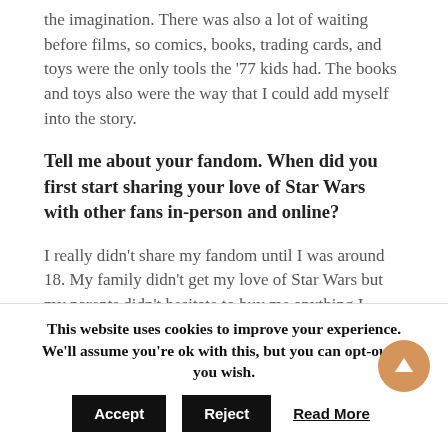the imagination. There was also a lot of waiting before films, so comics, books, trading cards, and toys were the only tools the '77 kids had. The books and toys also were the way that I could add myself into the story.
Tell me about your fandom. When did you first start sharing your love of Star Wars with other fans in-person and online?
I really didn't share my fandom until I was around 18. My family didn't get my love of Star Wars but my parents didn't hesitate to buy me anything I asked for from the toy store. When I got into comics in high school I became a part of the local fandom community but nothing specifically Star Wars related. It wasn't
This website uses cookies to improve your experience. We'll assume you're ok with this, but you can opt-out if you wish.